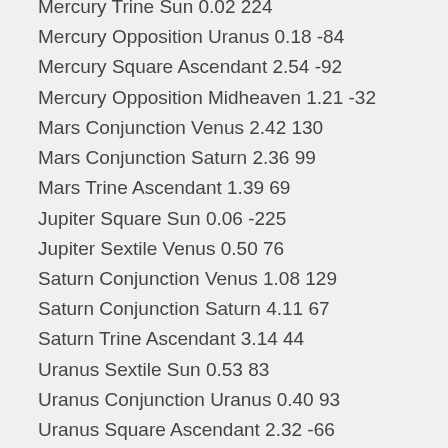Mercury Trine Sun 0.02 224
Mercury Opposition Uranus 0.18 -84
Mercury Square Ascendant 2.54 -92
Mercury Opposition Midheaven 1.21 -32
Mars Conjunction Venus 2.42 130
Mars Conjunction Saturn 2.36 99
Mars Trine Ascendant 1.39 69
Jupiter Square Sun 0.06 -225
Jupiter Sextile Venus 0.50 76
Saturn Conjunction Venus 1.08 129
Saturn Conjunction Saturn 4.11 67
Saturn Trine Ascendant 3.14 44
Uranus Sextile Sun 0.53 83
Uranus Conjunction Uranus 0.40 93
Uranus Square Ascendant 2.32 -66
Uranus Conjunction Midheaven 0.59 48
Neptune Conjunction Mars 1.38 96
Neptune Conjunction Jupiter 4.40 57